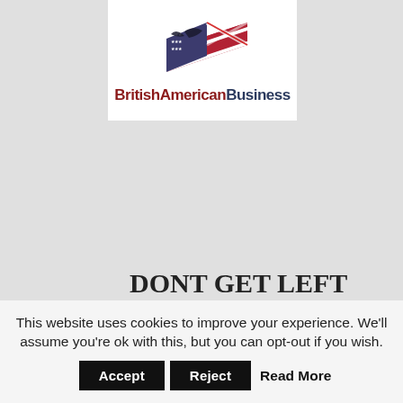[Figure (logo): BritishAmericanBusiness logo with intertwined UK and US flags above the text 'BritishAmericanBusiness']
DONT GET LEFT BEHIND...
For exclusive special offers, discounts and deals only available to our members, sign up below.
* indicates required
Email Address *
This website uses cookies to improve your experience. We'll assume you're ok with this, but you can opt-out if you wish.  Accept  Reject  Read More